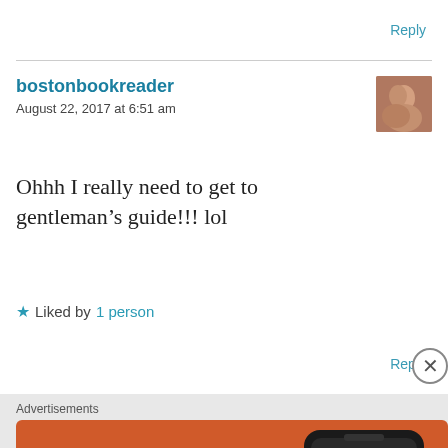Reply
bostonbookreader
August 22, 2017 at 6:51 am
Ohhh I really need to get to gentleman’s guide!!! lol
★ Liked by 1 person
Reply
Advertisements
[Figure (photo): User avatar photo of bostonbookreader]
[Figure (infographic): DuckDuckGo advertisement banner: Search, browse, and email with more privacy. All in One Free App. Shows a smartphone with the DuckDuckGo app.]